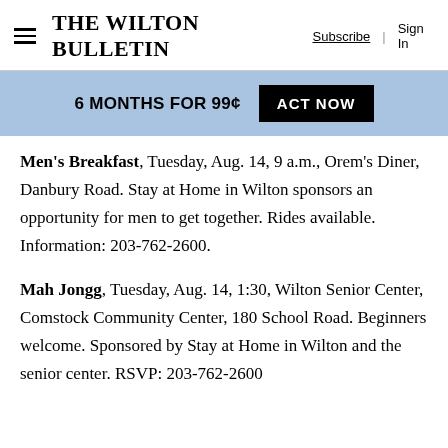The Wilton Bulletin | Subscribe | Sign In
6 MONTHS FOR 99¢  ACT NOW
Men's Breakfast, Tuesday, Aug. 14, 9 a.m., Orem's Diner, Danbury Road. Stay at Home in Wilton sponsors an opportunity for men to get together. Rides available. Information: 203-762-2600.
Mah Jongg, Tuesday, Aug. 14, 1:30, Wilton Senior Center, Comstock Community Center, 180 School Road. Beginners welcome. Sponsored by Stay at Home in Wilton and the senior center. RSVP: 203-762-2600